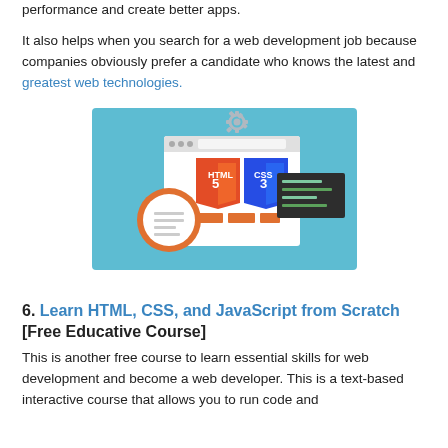performance and create better apps.
It also helps when you search for a web development job because companies obviously prefer a candidate who knows the latest and greatest web technologies.
[Figure (illustration): Illustration of a web browser window showing HTML5 and CSS3 shield logos with a gear icon and a document with magnifying glass, on a light blue background]
6. Learn HTML, CSS, and JavaScript from Scratch [Free Educative Course]
This is another free course to learn essential skills for web development and become a web developer. This is a text-based interactive course that allows you to run code and